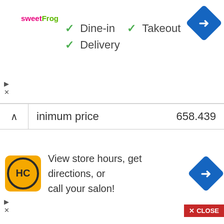[Figure (infographic): Sweet Frog advertisement banner with logo, checkmarks for Dine-in, Takeout, Delivery, and a blue direction arrow button]
|  |  |
| --- | --- |
| inimum price | 658.439 |
| Maximum price | 678.886 |
| Change | 2.97 % ▲ |
| Date | December 2022 |
| Minimum price | 678.784 |
| Maximum price | 688.361 |
| Change | 1.34 % ▲ |
[Figure (infographic): HC (Hair Club) advertisement banner with logo, text 'View store hours, get directions, or call your salon!' and blue direction arrow button]